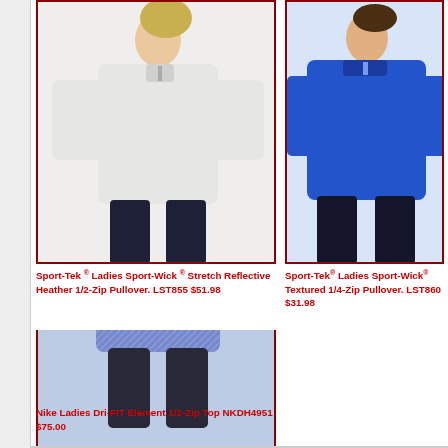[Figure (photo): White Sport-Tek Ladies Sport-Wick Stretch Reflective Heather 1/2-Zip Pullover model photo]
Sport-Tek ® Ladies Sport-Wick ® Stretch Reflective Heather 1/2-Zip Pullover. LST855 $51.98
[Figure (photo): Blue Sport-Tek Ladies Sport-Wick Textured 1/4-Zip Pullover model photo]
Sport-Tek® Ladies Sport-Wick® Textured 1/4-Zip Pullover. LST860 $31.98
[Figure (photo): Black Sport-Tek Ladies NRG Fitness Jacket LST885 model photo (cropped)]
Sport-Tek® La… NRG Fitness J… LST885 $49.98
[Figure (photo): Blue heather Nike Ladies Dri-FIT Element 1/2-Zip Top NKDH4951 model photo]
Nike Ladies Dri-FIT Element 1/2-Zip Top NKDH4951 $75.00